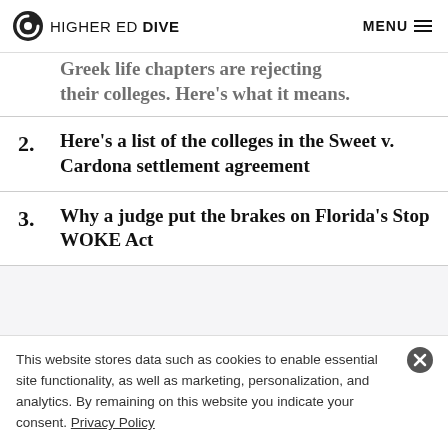HIGHER ED DIVE  MENU
Greek life chapters are rejecting their colleges. Here's what it means.
2. Here's a list of the colleges in the Sweet v. Cardona settlement agreement
3. Why a judge put the brakes on Florida's Stop WOKE Act
This website stores data such as cookies to enable essential site functionality, as well as marketing, personalization, and analytics. By remaining on this website you indicate your consent. Privacy Policy